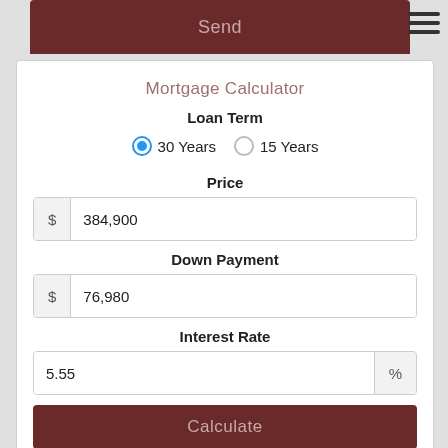[Figure (screenshot): Mortgage calculator web form with Send button at top, Loan Term radio buttons (30 Years selected, 15 Years unselected), Price input field showing 384,900, Down Payment input showing 76,980, Interest Rate input showing 5.55%, and Calculate button at bottom.]
Mortgage Calculator
Loan Term
30 Years  15 Years
Price
$ 384,900
Down Payment
$ 76,980
Interest Rate
5.55 %